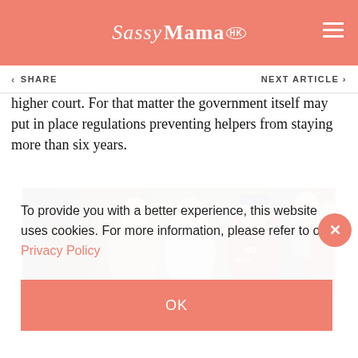Sassy Mama HK
higher court. For that matter the government itself may put in place regulations preventing helpers from staying more than six years.
[Figure (photo): Group of people making peace signs inside what appears to be an elevator or building entrance. Man in center wearing a cap and glasses and a red NO AFSMC t-shirt, surrounded by several women and a man in background.]
To provide you with a better experience, this website uses cookies. For more information, please refer to our Privacy Policy
OK